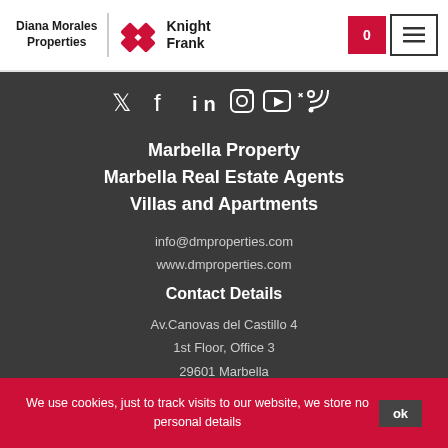[Figure (logo): Diana Morales Properties | Knight Frank logo with red diamond shapes and navigation buttons]
[Figure (infographic): Social media icons: Twitter, Facebook, LinkedIn, Instagram, YouTube, RSS feed]
Marbella Property
Marbella Real Estate Agents
Villas and Apartments
info@dmproperties.com
www.dmproperties.com
Contact Details
Av.Canovas del Castillo 4
1st Floor, Office 3
29601 Marbella
Tel: +34 952 765 138
We use cookies, just to track visits to our website, we store no personal details  ok